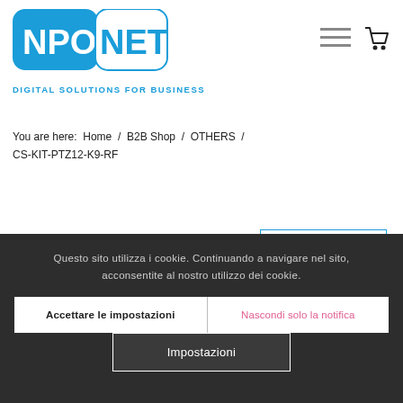[Figure (logo): NPO NET logo with blue background. Left part: blue rounded rectangle with 'NPO' in white bold text. Right part: white rounded rectangle with 'NET' in blue bold text. Below: 'DIGITAL SOLUTIONS FOR BUSINESS' in blue uppercase letters.]
You are here:  Home  /  B2B Shop  /  OTHERS  /  CS-KIT-PTZ12-K9-RF
[Figure (screenshot): Back button: rectangular outline in blue with 'Back' text in blue inside]
Questo sito utilizza i cookie. Continuando a navigare nel sito, acconsentite al nostro utilizzo dei cookie.
Accettare le impostazioni
Nascondi solo la notifica
Impostazioni